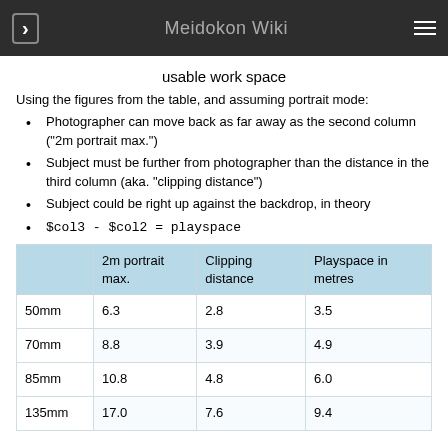Meidokon Wiki
usable work space
Using the figures from the table, and assuming portrait mode:
Photographer can move back as far away as the second column ("2m portrait max.")
Subject must be further from photographer than the distance in the third column (aka. "clipping distance")
Subject could be right up against the backdrop, in theory
$col3 - $col2 = playspace
|  | 2m portrait max. | Clipping distance | Playspace in metres |
| --- | --- | --- | --- |
| 50mm | 6.3 | 2.8 | 3.5 |
| 70mm | 8.8 | 3.9 | 4.9 |
| 85mm | 10.8 | 4.8 | 6.0 |
| 135mm | 17.0 | 7.6 | 9.4 |